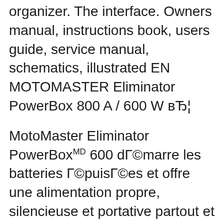organizer. The interface. Owners manual, instructions book, users guide, service manual, schematics, illustrated EN MOTOMASTER Eliminator PowerBox 800 A / 600 W вЂ¦
MotoMaster Eliminator PowerBoxMD 600 dГ©marre les batteries Г©puisГ©es et offre une alimentation propre, silencieuse et portative partout et en tout temps Canadian Tire 17/08/2017В В· This topic has 0 replies, 1 voice, and was last updated 5 months, 3 weeks ago by dxslttmlwm. Viewing 1 post (of 1 total) Author Posts July 11, 2019 at 2:25 pm #47259 dxslttmlwmParticipant . . Download: Eliminator power box 1200 manual